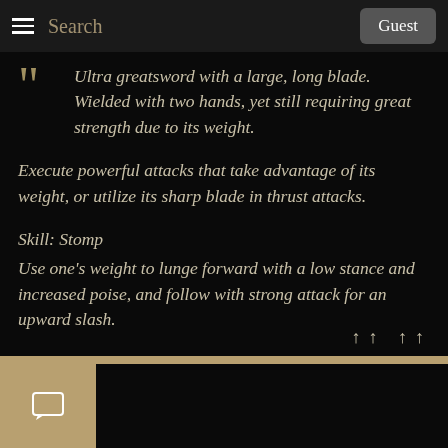Search | Guest
Ultra greatsword with a large, long blade. Wielded with two hands, yet still requiring great strength due to its weight.
Execute powerful attacks that take advantage of its weight, or utilize its sharp blade in thrust attacks.
Skill: Stomp
Use one's weight to lunge forward with a low stance and increased poise, and follow with strong attack for an upward slash.